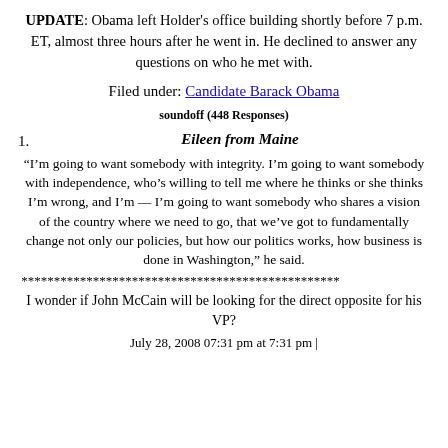UPDATE: Obama left Holder's office building shortly before 7 p.m. ET, almost three hours after he went in. He declined to answer any questions on who he met with.
Filed under: Candidate Barack Obama
soundoff (448 Responses)
1. Eileen from Maine
“I’m going to want somebody with integrity. I’m going to want somebody with independence, who’s willing to tell me where he thinks or she thinks I’m wrong, and I’m — I’m going to want somebody who shares a vision of the country where we need to go, that we’ve got to fundamentally change not only our policies, but how our politics works, how business is done in Washington,” he said.
* * * * * * * * * * * * * * * * * * * * * * * * * * * * * * * * * * * * * * * * * * *
I wonder if John McCain will be looking for the direct opposite for his VP?
July 28, 2008 07:31 pm at 7:31 pm |